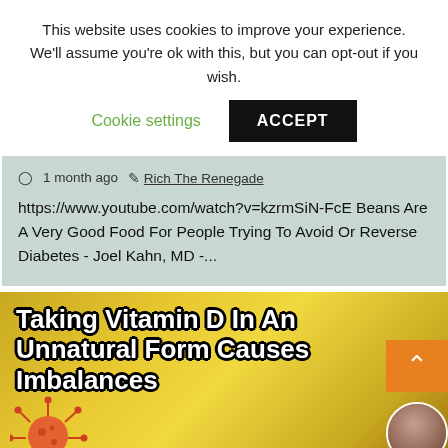This website uses cookies to improve your experience. We'll assume you're ok with this, but you can opt-out if you wish.
Cookie settings   ACCEPT
1 month ago   Rich The Renegade
https://www.youtube.com/watch?v=kzrmSiN-FcE Beans Are A Very Good Food For People Trying To Avoid Or Reverse Diabetes - Joel Kahn, MD -...
[Figure (screenshot): Video thumbnail with text 'Taking Vitamin D In An Unnatural Form Causes Imbalances' in bold white text with black outline on a yellow/green background, with an orange scroll-up button and a virus illustration at the bottom left, and an avatar in the bottom right corner.]